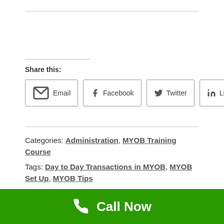Share this:
Email  Facebook  Twitter  LinkedIn
Categories: Administration, MYOB Training Course
Tags: Day to Day Transactions in MYOB, MYOB Set Up, MYOB Tips
Posted on September 29, 2011 by steve@virion.com.au
Call Now